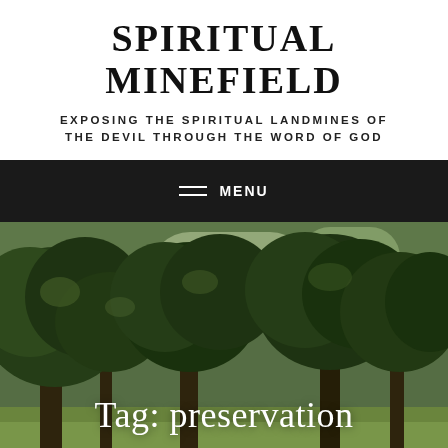SPIRITUAL MINEFIELD
EXPOSING THE SPIRITUAL LANDMINES OF THE DEVIL THROUGH THE WORD OF GOD
MENU
[Figure (photo): Outdoor scene with large green trees and a bright sky, used as a hero background image.]
Tag: preservation